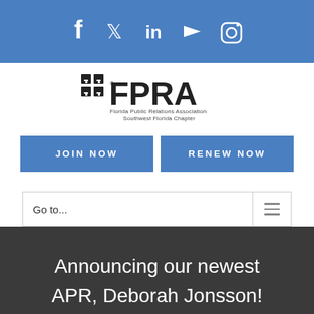[Figure (screenshot): Social media icon bar with Facebook, Twitter, LinkedIn, YouTube, and Instagram icons on blue background]
[Figure (logo): FPRA Florida Public Relations Association Southwest Florida Chapter logo]
JOIN NOW
RENEW NOW
Go to...
Announcing our newest APR, Deborah Jonsson!